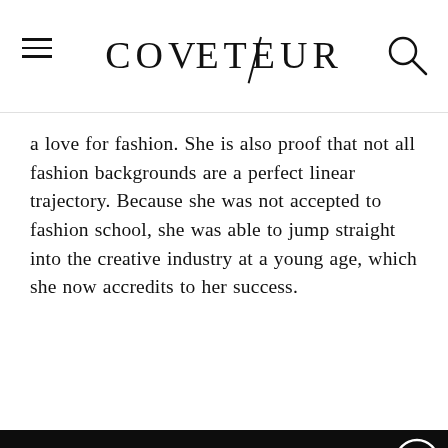COVETEUR
a love for fashion. She is also proof that not all fashion backgrounds are a perfect linear trajectory. Because she was not accepted to fashion school, she was able to jump straight into the creative industry at a young age, which she now accredits to her success.
The insider style & beauty essentials you need. Direct to your inbox, every day.
EMAIL@EXAMPLE.COM
SIGN UP